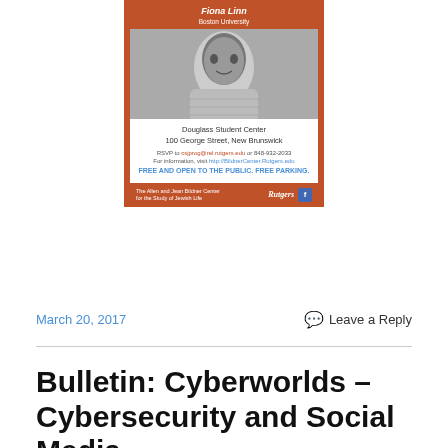[Figure (illustration): Event flyer for a lecture at Rutgers University. Features a black-and-white photo of a woman speaker, event location listed as Douglass Student Center, 100 George Street, New Brunswick. RSVP and information links shown. Footer has The Allen and Jean Bildner Center for the Study of Jewish Life and Rutgers logos.]
March 20, 2017
Leave a Reply
Bulletin: Cyberworlds – Cybersecurity and Social Media